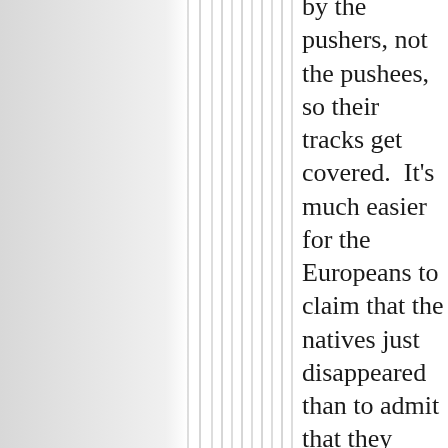by the pushers, not the pushees, so their tracks get covered. It's much easier for the Europeans to claim that the natives just disappeared than to admit that they brought invading species and